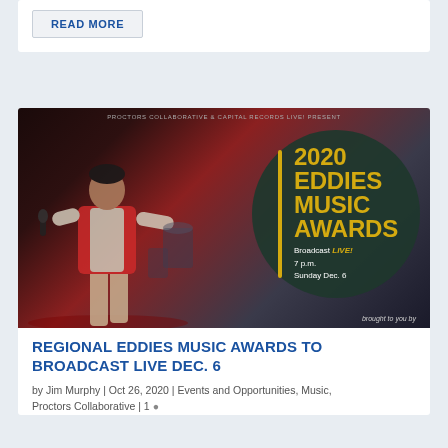READ MORE
[Figure (photo): Concert photo of a male singer on stage with microphone, wearing red vest, overlaid with a circular dark green badge reading '2020 EDDIES MUSIC AWARDS Broadcast LIVE! 7 p.m. Sunday Dec. 6' with a yellow vertical bar, presented by PROCTORS COLLABORATIVE & CAPITAL RECORDS LIVE!]
REGIONAL EDDIES MUSIC AWARDS TO BROADCAST LIVE DEC. 6
by Jim Murphy | Oct 26, 2020 | Events and Opportunities, Music, Proctors Collaborative | 1